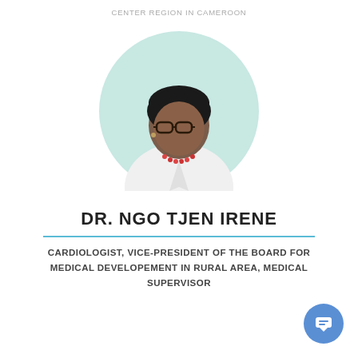CENTER REGION IN CAMEROON
[Figure (photo): Circular portrait photo of Dr. Ngo Tjen Irene, a woman wearing glasses, a white coat, and a red beaded necklace, against a light teal circular background.]
DR. NGO TJEN IRENE
CARDIOLOGIST, VICE-PRESIDENT OF THE BOARD FOR MEDICAL DEVELOPEMENT IN RURAL AREA, MEDICAL SUPERVISOR